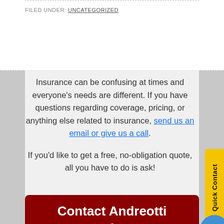FILED UNDER: UNCATEGORIZED
Insurance can be confusing at times and everyone's needs are different. If you have questions regarding coverage, pricing, or anything else related to insurance, send us an email or give us a call.
If you'd like to get a free, no-obligation quote, all you have to do is ask!
Contact Andreotti Today!